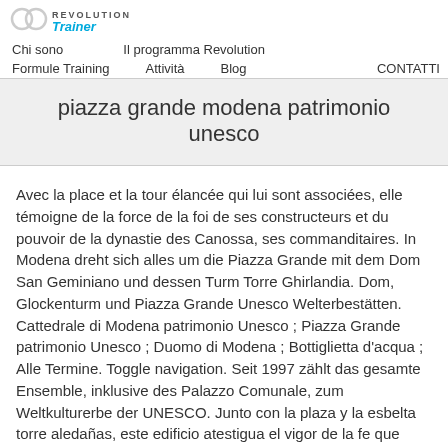REVOLUTION Trainer | Chi sono | Il programma Revolution | Formule Training | Attività | Blog | CONTATTI
piazza grande modena patrimonio unesco
Avec la place et la tour élancée qui lui sont associées, elle témoigne de la force de la foi de ses constructeurs et du pouvoir de la dynastie des Canossa, ses commanditaires. In Modena dreht sich alles um die Piazza Grande mit dem Dom San Geminiano und dessen Turm Torre Ghirlandia. Dom, Glockenturm und Piazza Grande Unesco Welterbestätten. Cattedrale di Modena patrimonio Unesco ; Piazza Grande patrimonio Unesco ; Duomo di Modena ; Bottiglietta d'acqua ; Alle Termine. Toggle navigation. Seit 1997 zählt das gesamte Ensemble, inklusive des Palazzo Comunale, zum Weltkulturerbe der UNESCO. Junto con la plaza y la esbelta torre aledañas, este edificio atestigua el vigor de la fe que animó a sus constructores, así como el poder de la dinastía de los Canossa